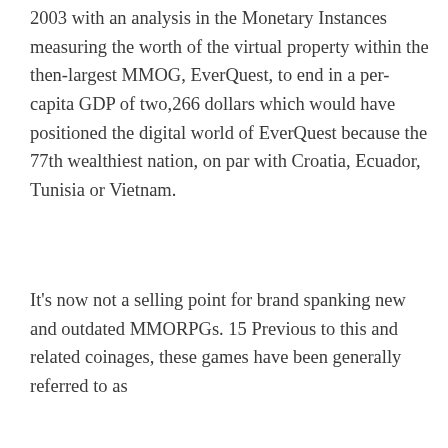2003 with an analysis in the Monetary Instances measuring the worth of the virtual property within the then-largest MMOG, EverQuest, to end in a per-capita GDP of two,266 dollars which would have positioned the digital world of EverQuest because the 77th wealthiest nation, on par with Croatia, Ecuador, Tunisia or Vietnam.
It's now not a selling point for brand spanking new and outdated MMORPGs. 15 Previous to this and related coinages, these games have been generally referred to as